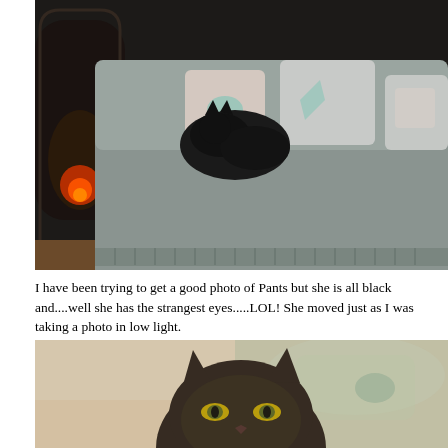[Figure (photo): A black cat lying on a gray sofa/bed with decorative cushions. A glowing fireplace is visible in the dark background on the left.]
I have been trying to get a good photo of Pants but she is all black and....well she has the strangest eyes.....LOL! She moved just as I was taking a photo in low light.
[Figure (photo): Close-up photo of a black cat with green/yellow eyes, slightly blurry due to motion, with decorative pillows visible in the background.]